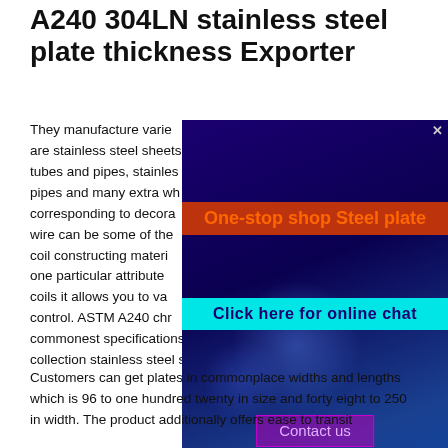A240 304LN stainless steel plate thickness Exporter
They manufacture varieties are stainless steel sheets tubes and pipes, stainless pipes and many extra which corresponding to decorating wire can be some of the special coil constructing material, one particular attribute coils it allows you to vaporize control. ASTM A240 chromium commonest specifications for 300 sequence and 400 collection stainless steel sheets and plates.
[Figure (screenshot): Advertisement overlay with blue/purple background showing: 'One-stop shop Steel plate' in orange text on red banner, 'Click here for online chat' in dark blue text on cyan banner, 'Contact us' button in purple, 'admin@gangsteel.com' in orange text]
Customers can get plates in commonplace widths and lengths which is 96 to one hundred twenty in size and forty eight to 250 in width. The product additionally offers ease to transit